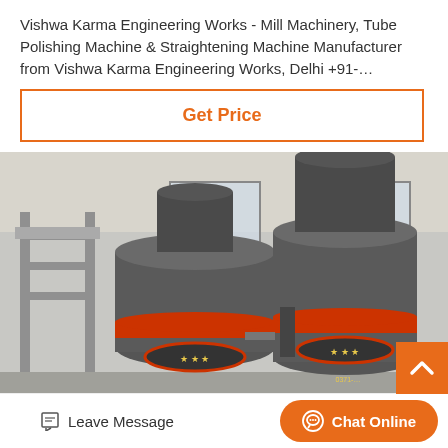Vishwa Karma Engineering Works - Mill Machinery, Tube Polishing Machine & Straightening Machine Manufacturer from Vishwa Karma Engineering Works, Delhi +91-…
[Figure (other): Button with orange border and orange bold text 'Get Price' on white background]
[Figure (photo): Industrial mill machinery in a factory setting — two large grey cylindrical grinding mill machines with red/orange accent bands, set in a concrete industrial building with windows and structural scaffolding visible in background. Chinese text/logo visible on machine bodies.]
Leave Message
Chat Online